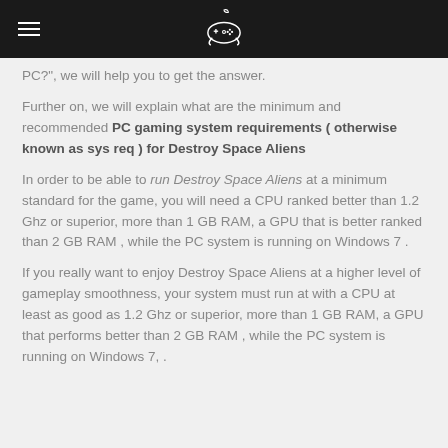[hamburger menu] [game controller icon]
PC?", we will help you to get the answer.
Further on, we will explain what are the minimum and recommended PC gaming system requirements ( otherwise known as sys req ) for Destroy Space Aliens
In order to be able to run Destroy Space Aliens at a minimum standard for the game, you will need a CPU ranked better than 1.2 Ghz or superior, more than 1 GB RAM, a GPU that is better ranked than 2 GB RAM , while the PC system is running on Windows 7 .
If you really want to enjoy Destroy Space Aliens at a higher level of gameplay smoothness, your system must run at with a CPU at least as good as 1.2 Ghz or superior, more than 1 GB RAM, a GPU that performs better than 2 GB RAM , while the PC system is running on Windows 7, .